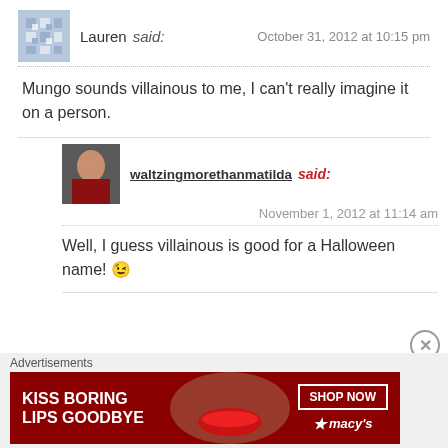Lauren said: October 31, 2012 at 10:15 pm
Mungo sounds villainous to me, I can't really imagine it on a person.
waltzingmorethanmatilda said: November 1, 2012 at 11:14 am
Well, I guess villainous is good for a Halloween name! 😉
Advertisements
[Figure (photo): Macy's advertisement banner: KISS BORING LIPS GOODBYE with SHOP NOW button and Macy's star logo, featuring a woman's face with red lipstick]